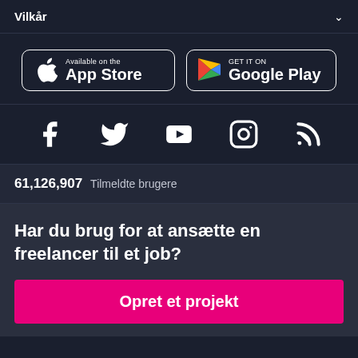Vilkår
[Figure (logo): App Store and Google Play download buttons side by side]
[Figure (infographic): Social media icons: Facebook, Twitter, YouTube, Instagram, RSS]
61,126,907  Tilmeldte brugere
Har du brug for at ansætte en freelancer til et job?
Opret et projekt